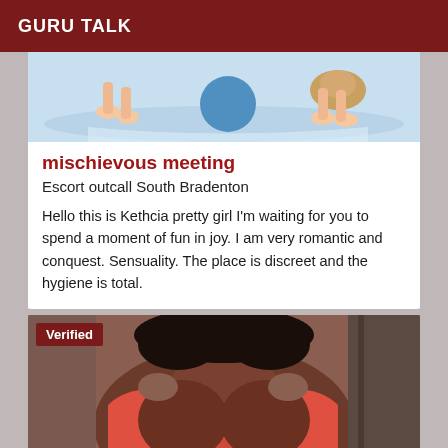GURU TALK
[Figure (illustration): Cartoon illustration of figures near water, feet visible, blue circular shape]
mischievous meeting
Escort outcall South Bradenton
Hello this is Kethcia pretty girl I'm waiting for you to spend a moment of fun in joy. I am very romantic and conquest. Sensuality. The place is discreet and the hygiene is total.
[Figure (photo): Photo of a person wearing a pink/red top, close-up. Has a 'Verified' badge overlay.]